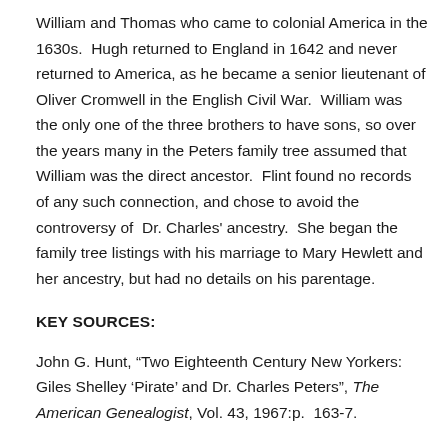William and Thomas who came to colonial America in the 1630s.  Hugh returned to England in 1642 and never returned to America, as he became a senior lieutenant of Oliver Cromwell in the English Civil War.  William was the only one of the three brothers to have sons, so over the years many in the Peters family tree assumed that William was the direct ancestor.  Flint found no records of any such connection, and chose to avoid the controversy of  Dr. Charles' ancestry.  She began the family tree listings with his marriage to Mary Hewlett and her ancestry, but had no details on his parentage.
KEY SOURCES:
John G. Hunt, “Two Eighteenth Century New Yorkers: Giles Shelley ‘Pirate’ and Dr. Charles Peters”, The American Genealogist, Vol. 43, 1967:p.  163-7.